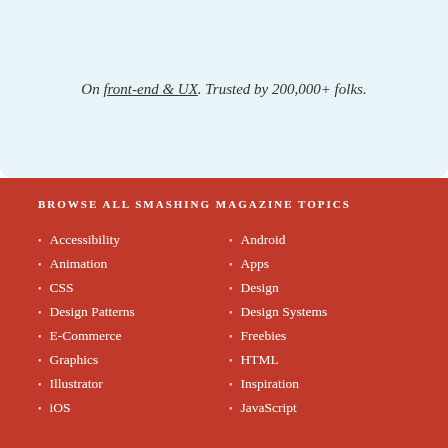On front-end & UX. Trusted by 200,000+ folks.
BROWSE ALL SMASHING MAGAZINE TOPICS
Accessibility
Android
Animation
Apps
CSS
Design
Design Patterns
Design Systems
E-Commerce
Freebies
Graphics
HTML
Illustrator
Inspiration
iOS
JavaScript